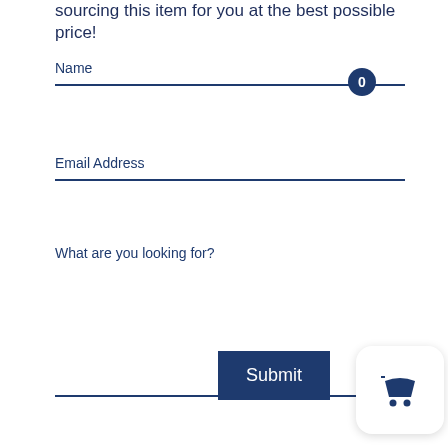sourcing this item for you at the best possible price!
Name
Email Address
What are you looking for?
Submit